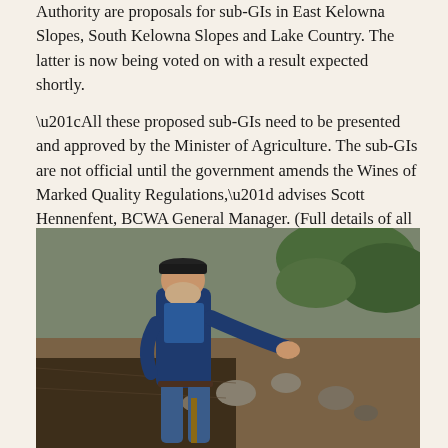Authority are proposals for sub-GIs in East Kelowna Slopes, South Kelowna Slopes and Lake Country. The latter is now being voted on with a result expected shortly.
“All these proposed sub-GIs need to be presented and approved by the Minister of Agriculture. The sub-GIs are not official until the government amends the Wines of Marked Quality Regulations,” advises Scott Hennenfent, BCWA General Manager. (Full details of all sub-GI proposals in process and completed are available at http://www.bcvqa.ca/media/.)
[Figure (photo): A man wearing dark blue jacket and cap standing in a vineyard trench or excavation pit, reaching out with his hand. Rocky soil and a hillside with vegetation visible in the background.]